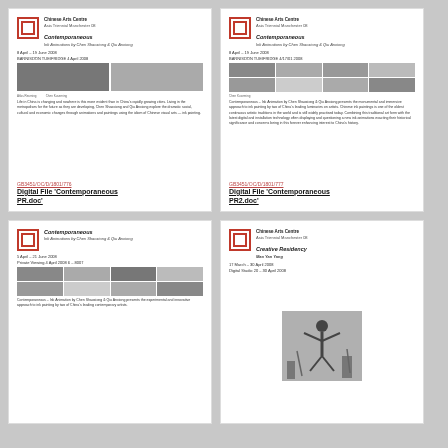[Figure (screenshot): Card 1: Chinese Arts Centre document preview for 'Contemporaneous - Ink Animations by Chen Shaoxiong & Qiu Anxiong', with logo, images, body text, and file reference GB3451/OC/D/1801/776 - Digital File 'Contemporaneous PR.doc']
[Figure (screenshot): Card 2: Chinese Arts Centre document preview for 'Contemporaneous - Ink Animations by Chen Shaoxiong & Qiu Anxiong', with logo, grid of images, body text, and file reference GB3451/OC/D/1801/777 - Digital File 'Contemporaneous PR2.doc']
[Figure (screenshot): Card 3: Contemporaneous document preview with grid of images and body text]
[Figure (screenshot): Card 4: Chinese Arts Centre document preview for 'Creative Residency: Mao Yan Yang', with logo and photograph]